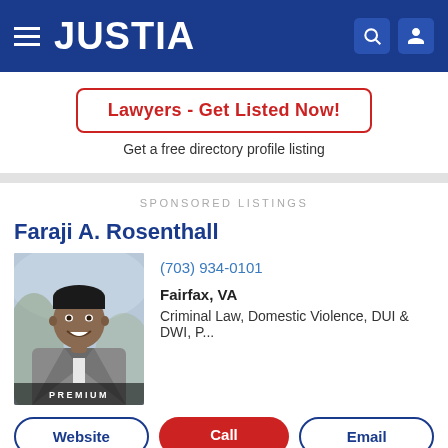JUSTIA
Lawyers - Get Listed Now!
Get a free directory profile listing
SPONSORED LISTINGS
Faraji A. Rosenthall
[Figure (photo): Professional headshot of Faraji A. Rosenthall, a man in a grey suit, smiling, with PREMIUM badge at bottom]
(703) 934-0101
Fairfax, VA
Criminal Law, Domestic Violence, DUI & DWI, P...
Website
Call
Email